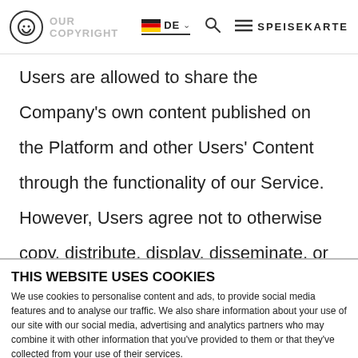OUR COPYRIGHT | DE | SPEISEKARTE
Users are allowed to share the Company's own content published on the Platform and other Users' Content through the functionality of our Service. However, Users agree not to otherwise copy, distribute, display, disseminate, or
THIS WEBSITE USES COOKIES
We use cookies to personalise content and ads, to provide social media features and to analyse our traffic. We also share information about your use of our site with our social media, advertising and analytics partners who may combine it with other information that you've provided to them or that they've collected from your use of their services.
Allow selection | Allow all cookies
NECESSARY | PREFERENCES | STATISTICS | MARKETING | Show details